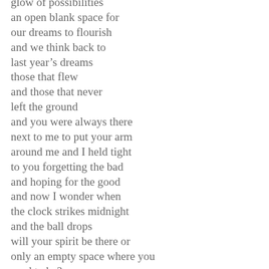glow of possibilities
an open blank space for
our dreams to flourish
and we think back to
last year’s dreams
those that flew
and those that never
left the ground
and you were always there
next to me to put your arm
around me and I held tight
to you forgetting the bad
and hoping for the good
and now I wonder when
the clock strikes midnight
and the ball drops
will your spirit be there or
only an empty space where you
used to be?